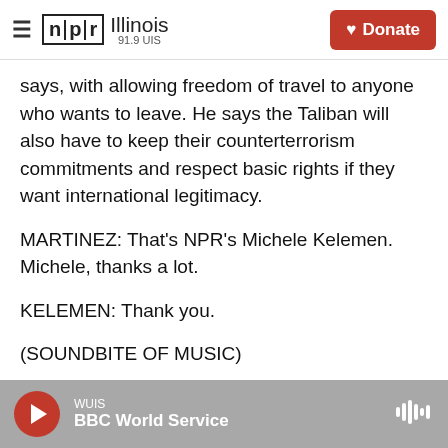NPR Illinois 91.9 UIS | Donate
says, with allowing freedom of travel to anyone who wants to leave. He says the Taliban will also have to keep their counterterrorism commitments and respect basic rights if they want international legitimacy.
MARTINEZ: That's NPR's Michele Kelemen. Michele, thanks a lot.
KELEMEN: Thank you.
(SOUNDBITE OF MUSIC)
MARTINEZ: All right. From the grocery aisles to the
WUIS | BBC World Service